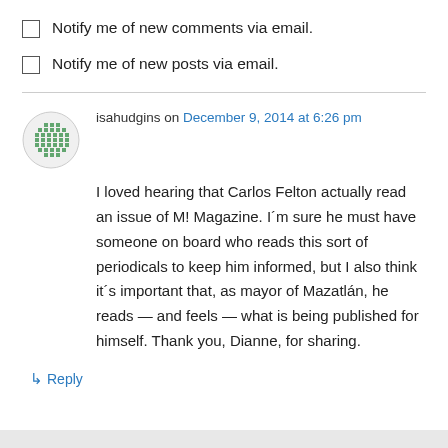Notify me of new comments via email.
Notify me of new posts via email.
isahudgins on December 9, 2014 at 6:26 pm
I loved hearing that Carlos Felton actually read an issue of M! Magazine. I´m sure he must have someone on board who reads this sort of periodicals to keep him informed, but I also think it´s important that, as mayor of Mazatlán, he reads — and feels — what is being published for himself. Thank you, Dianne, for sharing.
↳ Reply